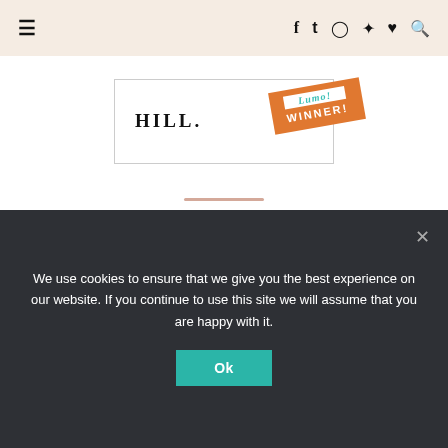≡   f  t  ☐  ☐  ♥  🔍
[Figure (illustration): A white rectangular box with 'HILL.' text on the left side and an orange diagonal banner/badge on the right with 'WINNER!' text in white, with teal cursive text above it]
DISCLAIMER:
Occasionally I review products on the blog which have been sent to me by companies to try. I will only accept products that I either love myself or that I feel are a good fit for the blog. All opinions are my own and always will be. If I have been sent a product to
Privacy & Cookies: This site uses cookies. By continuing to use this
We use cookies to ensure that we give you the best experience on our website. If you continue to use this site we will assume that you are happy with it.